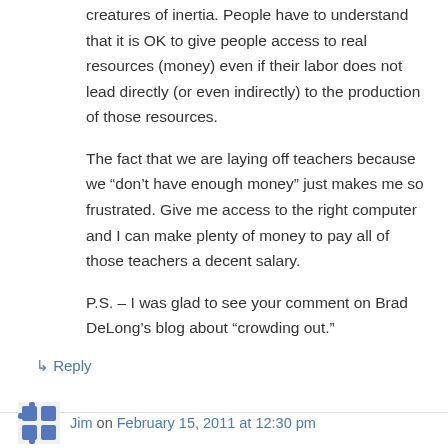creatures of inertia. People have to understand that it is OK to give people access to real resources (money) even if their labor does not lead directly (or even indirectly) to the production of those resources.
The fact that we are laying off teachers because we “don’t have enough money” just makes me so frustrated. Give me access to the right computer and I can make plenty of money to pay all of those teachers a decent salary.
P.S. – I was glad to see your comment on Brad DeLong’s blog about “crowding out.”
↳ Reply
Jim on February 15, 2011 at 12:30 pm